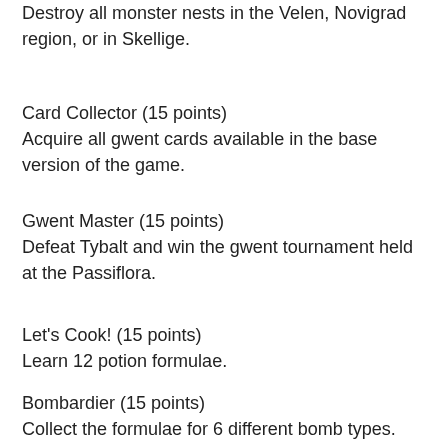Destroy all monster nests in the Velen, Novigrad region, or in Skellige.
Card Collector (15 points)
Acquire all gwent cards available in the base version of the game.
Gwent Master (15 points)
Defeat Tybalt and win the gwent tournament held at the Passiflora.
Let's Cook! (15 points)
Learn 12 potion formulae.
Bombardier (15 points)
Collect the formulae for 6 different bomb types.